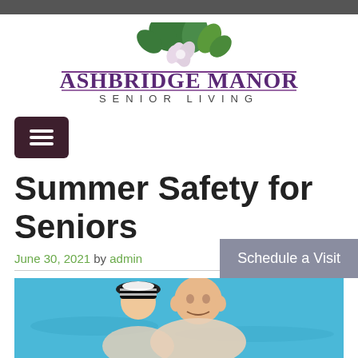[Figure (logo): Ashbridge Manor Senior Living logo with green leaves and flower, purple text]
[Figure (other): Dark maroon hamburger menu button]
Summer Safety for Seniors
June 30, 2021 by admin
[Figure (photo): Elderly couple in a swimming pool, smiling. Blue water background.]
Schedule a Visit